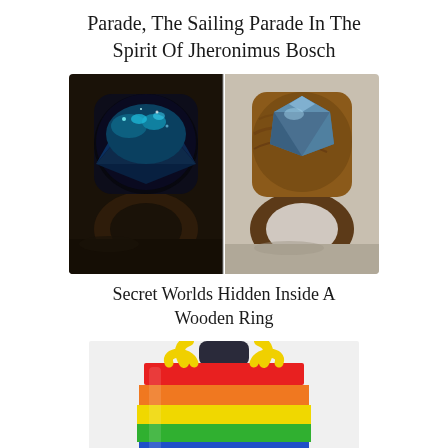Parade, The Sailing Parade In The Spirit Of Jheronimus Bosch
[Figure (photo): Two wooden rings side by side: left ring has a blue and teal resin top resembling a miniature ocean/forest world; right ring has a wood-and-blue resin faceted top, set against a grey background.]
Secret Worlds Hidden Inside A Wooden Ring
[Figure (photo): A hand holding a large rainbow-striped tote bag with yellow handles, featuring the colors of the pride flag (red, orange, yellow, green, blue, violet stripes).]